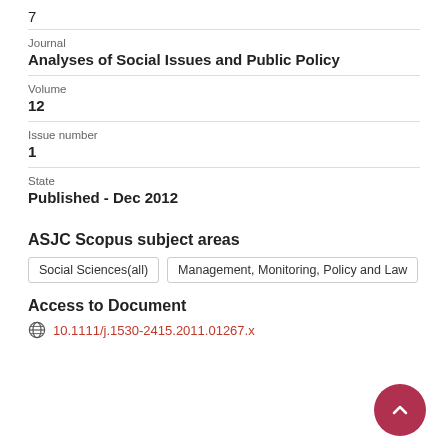7
Journal
Analyses of Social Issues and Public Policy
Volume
12
Issue number
1
State
Published - Dec 2012
ASJC Scopus subject areas
Social Sciences(all)
Management, Monitoring, Policy and Law
Access to Document
10.1111/j.1530-2415.2011.01267.x